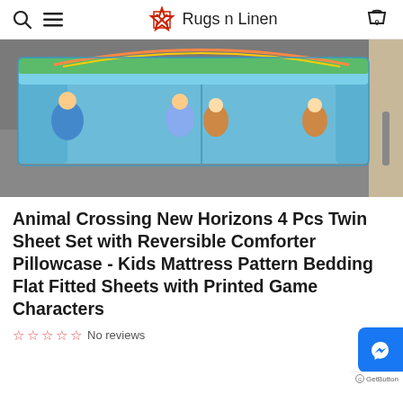Rugs n Linen
[Figure (photo): Photo of an Animal Crossing New Horizons themed children's mattress/bed with blue fabric and cartoon characters on a grey carpet floor.]
Animal Crossing New Horizons 4 Pcs Twin Sheet Set with Reversible Comforter Pillowcase - Kids Mattress Pattern Bedding Flat Fitted Sheets with Printed Game Characters
No reviews